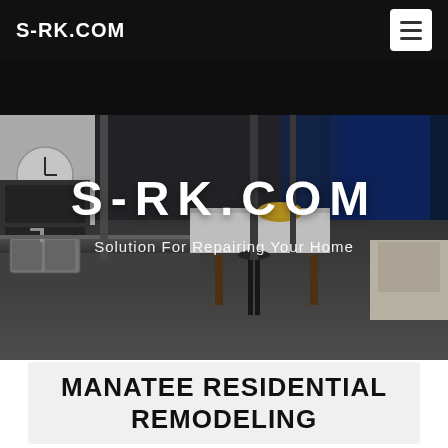S-RK.COM
[Figure (photo): Interior photo of a modern open-plan kitchen and living area at dusk, featuring stainless steel sink, dark countertops, dining table with a bowl, black stools, large glass sliding doors showing a blue-lit outdoor area, and a white armchair. Overlaid with the text 'S-RK.COM' and 'Solution For Repairing Your Home'.]
MANATEE RESIDENTIAL REMODELING